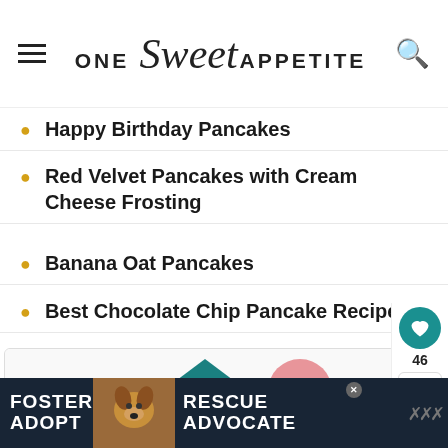ONE Sweet APPETITE
Happy Birthday Pancakes
Red Velvet Pancakes with Cream Cheese Frosting
Banana Oat Pancakes
Best Chocolate Chip Pancake Recipe
[Figure (infographic): Step-by-step recipe infographic showing numbered steps with teal triangle and pink circle markers]
FOSTER ADOPT | RESCUE ADVOCATE - Advertisement banner with dog image